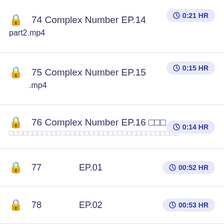🔒 74 Complex Number EP.14  ⏱ 0:21 HR  part2.mp4
🔒 75 Complex Number EP.15  ⏱ 0:15 HR  .mp4
🔒 76 Complex Number EP.16 □□□  ⏱ 0:14 HR  □□□□□□□□□□□□□□□□□□□□□□□□□□□□□□□□□□□□
🔒 77  EP.01  ⏱ 00:52 HR
🔒 78  EP.02  ⏱ 00:53 HR